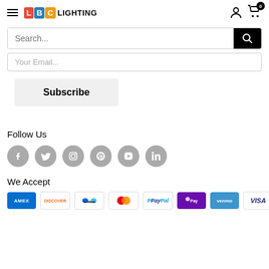LBC LIGHTING header with hamburger menu, logo, user icon, and cart (0)
[Figure (screenshot): Search bar with text input placeholder 'Search...' and black search button]
Your Email (partially visible input)
Subscribe
Follow Us
[Figure (infographic): Six social media icons in gray circles: Facebook, Twitter, Instagram, Pinterest, YouTube, LinkedIn]
We Accept
[Figure (infographic): Payment method logos: AMEX, DISCOVER, Meta, Mastercard, PayPal, OPay, Venmo, VISA]